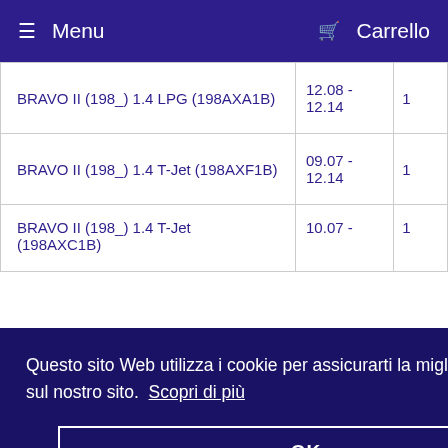≡ Menu   🛒 Carrello
| Model | Date | Num |
| --- | --- | --- |
| BRAVO II (198_) 1.4 LPG (198AXA1B) | 12.08 - 12.14 | 1 |
| BRAVO II (198_) 1.4 T-Jet (198AXF1B) | 09.07 - 12.14 | 1 |
| BRAVO II (198_) 1.4 T-Jet (198AXC1B) | 10.07 - | 1 |
Questo sito Web utilizza i cookie per assicurarti la migliore esperienza sul nostro sito. Scopri di più
OK